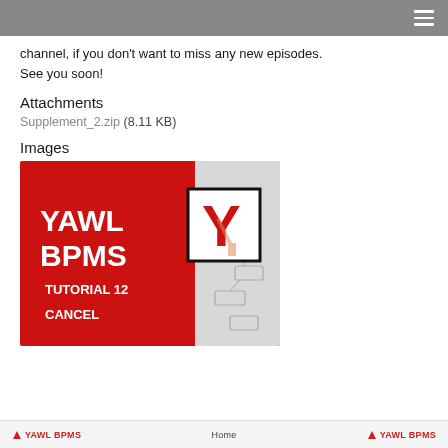channel, if you don't want to miss any new episodes. See you soon!
Attachments
Supplement_2.zip (8.11 KB)
Images
[Figure (illustration): YAWL BPMS Tutorial 12 Cancel thumbnail image with red background, white bold text 'YAWL BPMS', red label 'TUTORIAL 12 CANCEL', and YAWL Y logo on right side over a workflow diagram]
YAWL BPMS   Home   YAWL BPMS